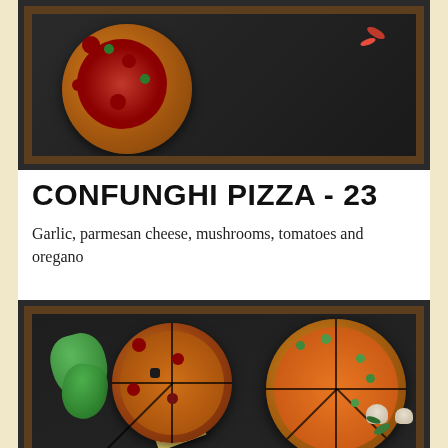[Figure (photo): Top-down photo of a pepperoni and vegetable pizza on a dark slate board with wooden frame, garnished with red chili peppers]
CONFUNGHI PIZZA - 23
Garlic, parmesan cheese, mushrooms, tomatoes and oregano
[Figure (photo): Two pizzas on dark slate board with wooden frame: one topped with green olives and vegetables, one with pepperoni and mixed toppings, accompanied by green bell peppers, cheese block, grater, and mushrooms]